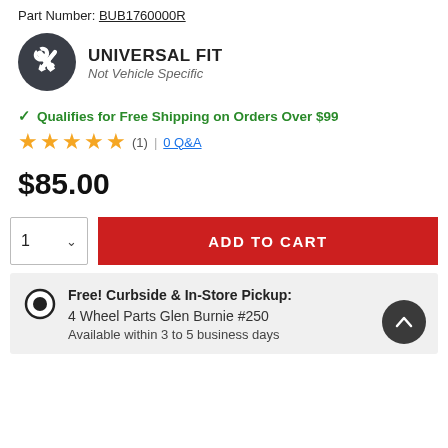Part Number: BUB1760000R
[Figure (illustration): Universal Fit badge icon — dark circle with crossed wrench and screwdriver, white icon on dark background]
UNIVERSAL FIT
Not Vehicle Specific
✓ Qualifies for Free Shipping on Orders Over $99
★★★★★ (1) | 0 Q&A
$85.00
1 ∨  ADD TO CART
Free! Curbside & In-Store Pickup:
4 Wheel Parts Glen Burnie #250
Available within 3 to 5 business days